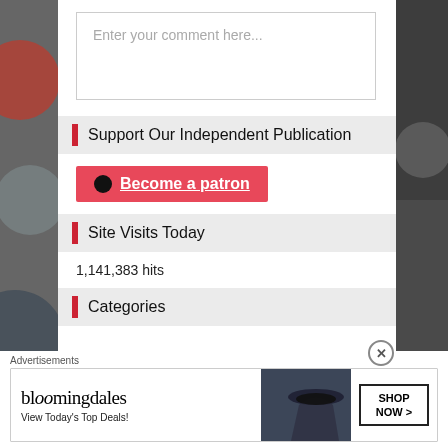Enter your comment here...
Support Our Independent Publication
Become a patron
Site Visits Today
1,141,383 hits
Categories
Advertisements
[Figure (other): Bloomingdale's advertisement banner with logo, 'View Today's Top Deals!' text, woman with hat image, and SHOP NOW button]